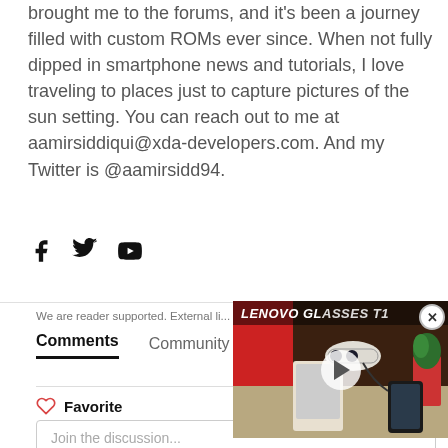brought me to the forums, and it's been a journey filled with custom ROMs ever since. When not fully dipped in smartphone news and tutorials, I love traveling to places just to capture pictures of the sun setting. You can reach out to me at aamirsiddiqui@xda-developers.com. And my Twitter is @aamirsidd94.
[Figure (other): Social media icons: Facebook, Twitter, YouTube]
We are reader supported. External li...
Comments   Community
Favorite
Join the discussion...
[Figure (screenshot): Video overlay showing LENOVO GLASSES T1 product video with play button]